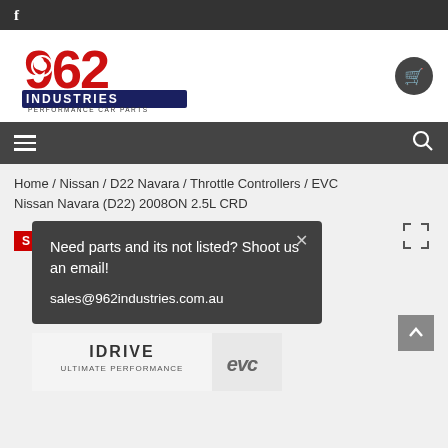f
[Figure (logo): 962 Industries Performance Car Parts logo in red and navy blue, with a turbo/wheel motif inside the 9]
[Figure (other): Shopping cart icon in dark circle]
Home / Nissan / D22 Navara / Throttle Controllers / EVC Nissan Navara (D22) 2008ON 2.5L CRD
Need parts and its not listed? Shoot us an email!
sales@962industries.com.au
[Figure (photo): Product image showing iDrive Ultimate Performance and EVC branding on packaging]